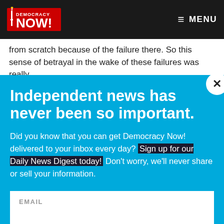Democracy Now! — MENU
from scratch because of the failure there. So this sense of betrayal in the wake of these failures was really
Independent news has never been so important.
Did you know that you can get Democracy Now! delivered to your inbox every day? Sign up for our Daily News Digest today! Don't worry, we'll never share or sell your information.
EMAIL
SIGN UP!